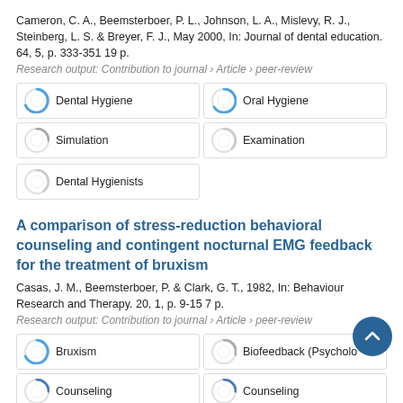Cameron, C. A., Beemsterboer, P. L., Johnson, L. A., Mislevy, R. J., Steinberg, L. S. & Breyer, F. J., May 2000, In: Journal of dental education. 64, 5, p. 333-351 19 p.
Research output: Contribution to journal › Article › peer-review
Dental Hygiene
Oral Hygiene
Simulation
Examination
Dental Hygienists
A comparison of stress-reduction behavioral counseling and contingent nocturnal EMG feedback for the treatment of bruxism
Casas, J. M., Beemsterboer, P. & Clark, G. T., 1982, In: Behaviour Research and Therapy. 20, 1, p. 9-15 7 p.
Research output: Contribution to journal › Article › peer-review
Bruxism
Biofeedback (Psycholo...
Counseling
Counseling
Masseter Muscle